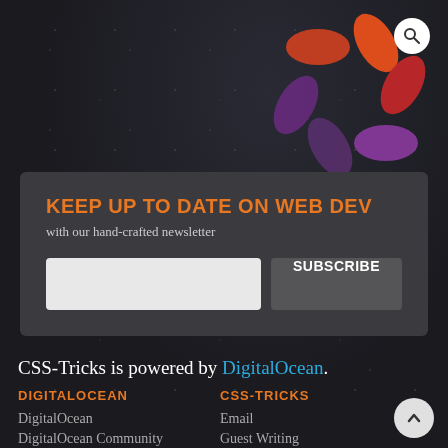[Figure (logo): CSS-Tricks asterisk/star logo in orange-red-purple gradient, top right corner]
KEEP UP TO DATE ON WEB DEV
with our hand-crafted newsletter
SUBSCRIBE
CSS-Tricks is powered by DigitalOcean.
DIGITALOCEAN
DigitalOcean
DigitalOcean Community
CSS-TRICKS
Email
Guest Writing